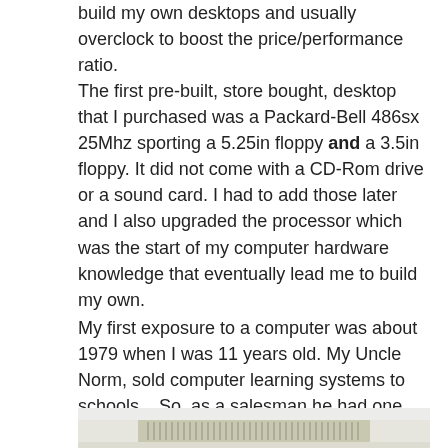build my own desktops and usually overclock to boost the price/performance ratio.
The first pre-built, store bought, desktop that I purchased was a Packard-Bell 486sx 25Mhz sporting a 5.25in floppy and a 3.5in floppy. It did not come with a CD-Rom drive or a sound card. I had to add those later and I also upgraded the processor which was the start of my computer hardware knowledge that eventually lead me to build my own.
My first exposure to a computer was about 1979 when I was 11 years old. My Uncle Norm, sold computer learning systems to schools.  So, as a salesman he had one for demonstration.
[Figure (photo): Photograph of an old computer or keyboard hardware, partially visible at the bottom of the page, showing a beige/tan colored device with ventilation slots.]